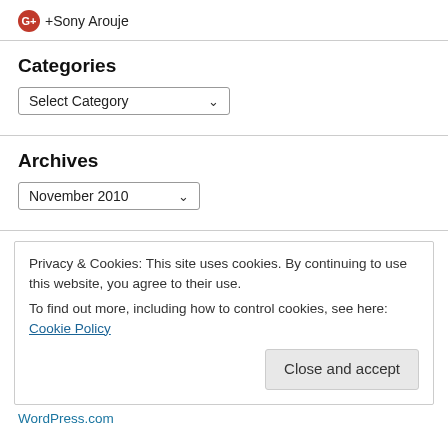G+ Sony Arouje
Categories
Select Category
Archives
November 2010
Privacy & Cookies: This site uses cookies. By continuing to use this website, you agree to their use.
To find out more, including how to control cookies, see here: Cookie Policy
Close and accept
WordPress.com